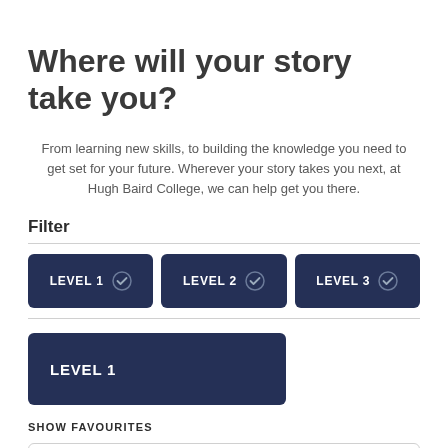Where will your story take you?
From learning new skills, to building the knowledge you need to get set for your future. Wherever your story takes you next, at Hugh Baird College, we can help get you there.
Filter
LEVEL 1 ✓   LEVEL 2 ✓   LEVEL 3 ✓
LEVEL 1
SHOW FAVOURITES
[Figure (other): Empty card with heart/favourite icon in bottom right corner]